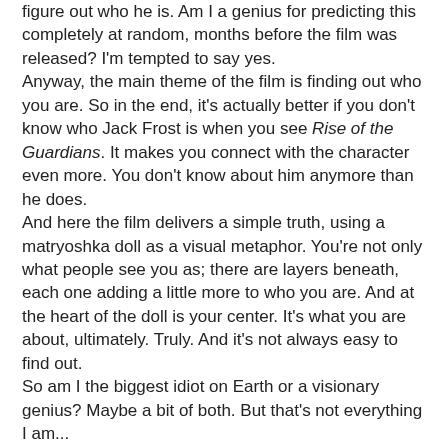figure out who he is. Am I a genius for predicting this completely at random, months before the film was released? I'm tempted to say yes.
Anyway, the main theme of the film is finding out who you are. So in the end, it's actually better if you don't know who Jack Frost is when you see Rise of the Guardians. It makes you connect with the character even more. You don't know about him anymore than he does.
And here the film delivers a simple truth, using a matryoshka doll as a visual metaphor. You're not only what people see you as; there are layers beneath, each one adding a little more to who you are. And at the heart of the doll is your center. It's what you are about, ultimately. Truly. And it's not always easy to find out.
So am I the biggest idiot on Earth or a visionary genius? Maybe a bit of both. But that's not everything I am...
I am also a sucker for pretty things.
Let's face it: Rise of the Guardians looks amazing. Not only are the characters and set designs brilliant and full of nice colors, but from a technical point of view, the film is